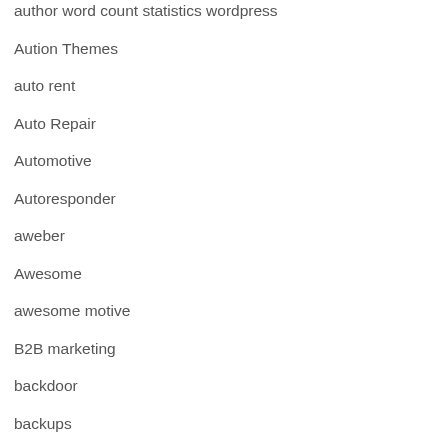author word count statistics wordpress
Aution Themes
auto rent
Auto Repair
Automotive
Autoresponder
aweber
Awesome
awesome motive
B2B marketing
backdoor
backups
Bakeries